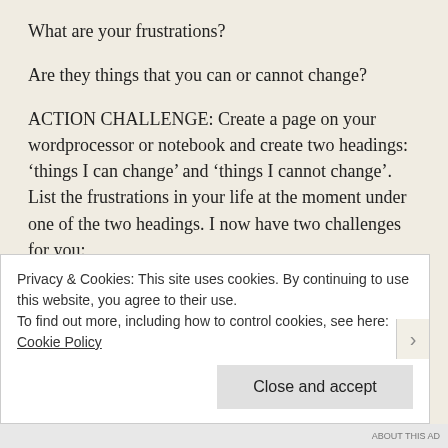What are your frustrations?
Are they things that you can or cannot change?
ACTION CHALLENGE: Create a page on your wordprocessor or notebook and create two headings: ‘things I can change’ and ‘things I cannot change’. List the frustrations in your life at the moment under one of the two headings. I now have two challenges for you:
1 Pick one of the items you can change and ask yourself what you could do this week that would make a difference. And do it!
Privacy & Cookies: This site uses cookies. By continuing to use this website, you agree to their use.
To find out more, including how to control cookies, see here: Cookie Policy
Close and accept